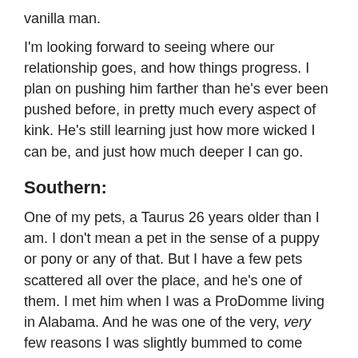vanilla man.
I'm looking forward to seeing where our relationship goes, and how things progress.  I plan on pushing him farther than he's ever been pushed before, in pretty much every aspect of kink.  He's still learning just how more wicked I can be, and just how much deeper I can go.
Southern:
One of my pets, a Taurus 26 years older than I am.  I don't mean a pet in the sense of a puppy or pony or any of that.  But I have a few pets scattered all over the place, and he's one of them.  I met him when I was a ProDomme living in Alabama.  And he was one of the very, very few reasons I was slightly bummed to come back to Vegas.